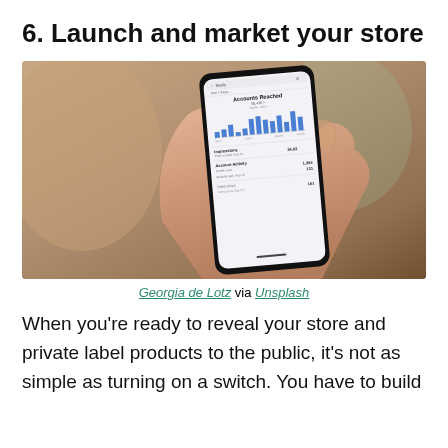6. Launch and market your store
[Figure (photo): A hand holding a smartphone displaying an Instagram Insights screen showing 'Accounts Reached' analytics with a bar chart of reach data over time, follower stats, and account activity metrics.]
Georgia de Lotz via Unsplash
When you're ready to reveal your store and private label products to the public, it's not as simple as turning on a switch. You have to build